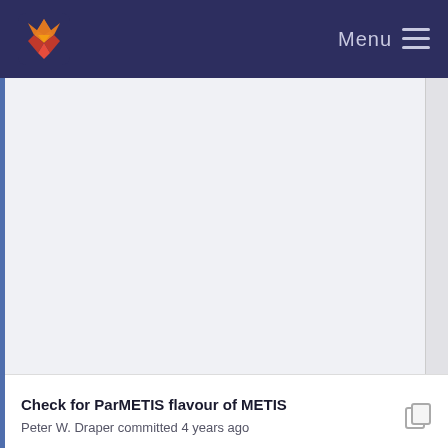Menu
[Figure (other): Empty scrollable content area with light grey background]
Check for ParMETIS flavour of METIS
Peter W. Draper committed 4 years ago
Remove all remaining traces of serial METIS
Peter W. Draper committed 4 years ago